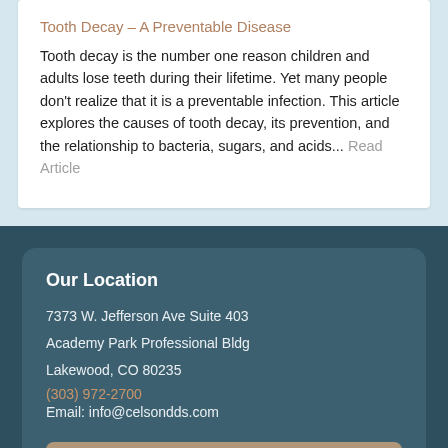Tooth Decay – A Preventable Disease
Tooth decay is the number one reason children and adults lose teeth during their lifetime. Yet many people don't realize that it is a preventable infection. This article explores the causes of tooth decay, its prevention, and the relationship to bacteria, sugars, and acids... Read Article
Our Location
7373 W. Jefferson Ave Suite 403
Academy Park Professional Bldg
Lakewood, CO 80235
(303) 972-2700
Email: info@celsondds.com
map & directions